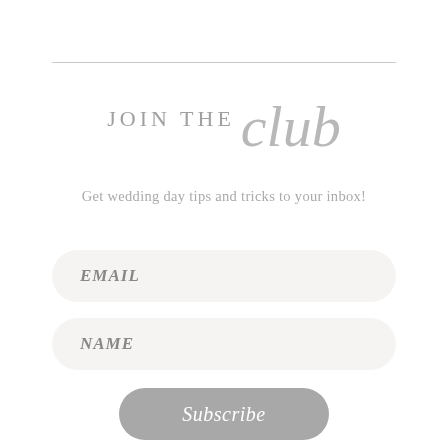JOIN THE club
Get wedding day tips and tricks to your inbox!
EMAIL
NAME
Subscribe